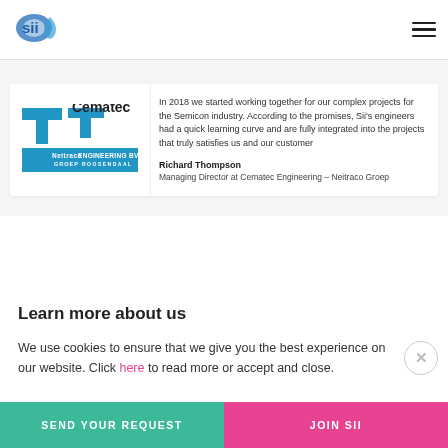SII logo and navigation
[Figure (logo): Cematec Engineering – Neitraco Groep logo with blue T-shape and Neitraco text]
In 2018 we started working together for our complex projects for the Semicon industry. According to the promises, Sii's engineers had a quick learning curve and are fully integrated into the projects that truly satisfies us and our customer
Richard Thompson
Managing Director at Cematec Engineering – Neitraco Groep
Learn more about us
We use cookies to ensure that we give you the best experience on our website. Click here to read more or accept and close.
SEND YOUR REQUEST | JOIN SII